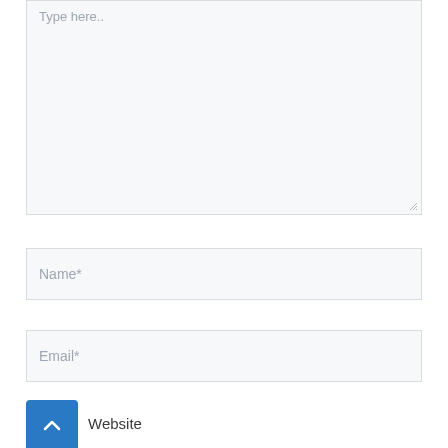Type here..
Name*
Email*
[Figure (other): Blue back-to-top button with upward chevron arrow]
Website